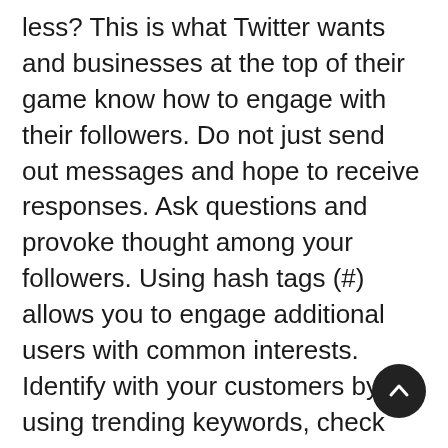less? This is what Twitter wants and businesses at the top of their game know how to engage with their followers. Do not just send out messages and hope to receive responses. Ask questions and provoke thought among your followers. Using hash tags (#) allows you to engage additional users with common interests. Identify with your customers by using trending keywords, check the effectiveness of your strategies and above all else listen to what your followers have to say.
Engaging through Facebook
Engaging your customers on Facebook requires dedication and attention to details. Established brands set the tone relating to interaction. Brand